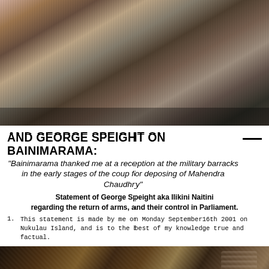[Figure (photo): Group of men holding firearms, some in formal attire, others in casual clothing, appearing to be during a civil conflict or coup situation.]
AND GEORGE SPEIGHT ON BAINIMARAMA:
"Bainimarama thanked me at a reception at the military barracks in the early stages of the coup for deposing of Mahendra Chaudhry"
Statement of George Speight aka Ilikini Naitini regarding the return of arms, and their control in Parliament.
This statement is made by me on Monday September16th 2001 on Nukulau Island, and is to the best of my knowledge true and factual.
[Figure (photo): Dark indoor scene showing people with traditional or decorative objects, low lighting.]